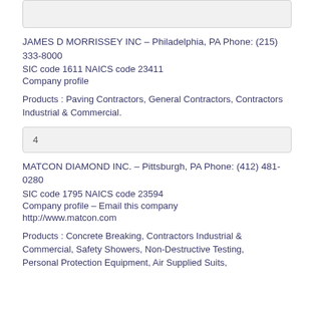3 (partial box at top)
JAMES D MORRISSEY INC – Philadelphia, PA Phone: (215) 333-8000
SIC code 1611 NAICS code 23411
Company profile
Products : Paving Contractors, General Contractors, Contractors Industrial & Commercial.
4
MATCON DIAMOND INC. – Pittsburgh, PA Phone: (412) 481-0280
SIC code 1795 NAICS code 23594
Company profile – Email this company
http://www.matcon.com
Products : Concrete Breaking, Contractors Industrial & Commercial, Safety Showers, Non-Destructive Testing, Personal Protection Equipment, Air Supplied Suits,